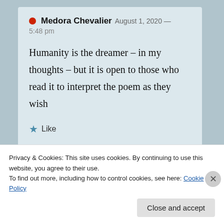Medora Chevalier  August 1, 2020 — 5:48 pm
Humanity is the dreamer – in my thoughts – but it is open to those who read it to interpret the poem as they wish
★ Like
Privacy & Cookies: This site uses cookies. By continuing to use this website, you agree to their use.
To find out more, including how to control cookies, see here: Cookie Policy